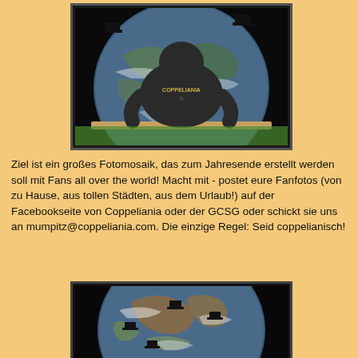[Figure (photo): Person wearing a dark Coppeliania hoodie seen from behind, sitting in front of a large globe balloon on green grass]
Ziel ist ein großes Fotomosaik, das zum Jahresende erstellt werden soll mit Fans all over the world! Macht mit - postet eure Fanfotos (von zu Hause, aus tollen Städten, aus dem Urlaub!) auf der Facebookseite von Coppeliania oder der GCSG oder schickt sie uns an mumpitz@coppeliania.com. Die einzige Regel: Seid coppelianisch!
[Figure (photo): Globe of Earth from space with small black top hats placed on it at various locations]